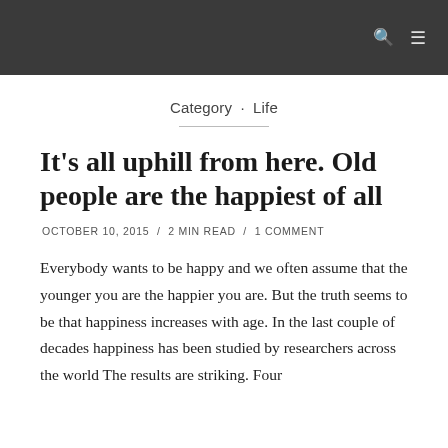🔍  ☰
Category · Life
It's all uphill from here. Old people are the happiest of all
OCTOBER 10, 2015 / 2 MIN READ / 1 COMMENT
Everybody wants to be happy and we often assume that the younger you are the happier you are. But the truth seems to be that happiness increases with age. In the last couple of decades happiness has been studied by researchers across the world The results are striking. Four